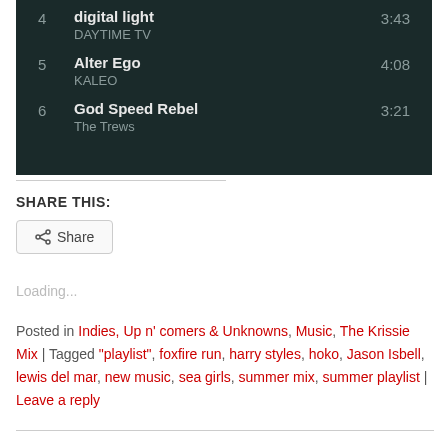[Figure (screenshot): Music playlist screenshot showing tracks 4-6: 4 digital light / DAYTIME TV (3:43), 5 Alter Ego / KALEO (4:08), 6 God Speed Rebel / The Trews (3:21) on dark background]
SHARE THIS:
Share (button)
Loading...
Posted in Indies, Up n' comers & Unknowns, Music, The Krissie Mix | Tagged "playlist", foxfire run, harry styles, hoko, Jason Isbell, lewis del mar, new music, sea girls, summer mix, summer playlist | Leave a reply